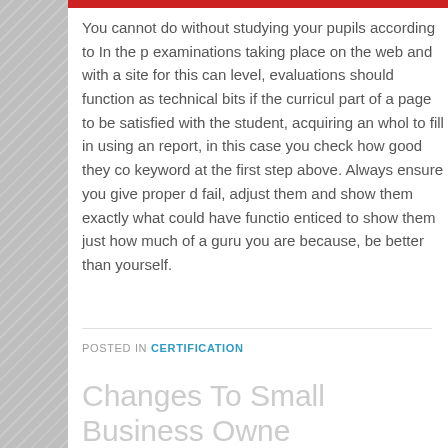You cannot do without studying your pupils according to In the p examinations taking place on the web and with a site for this can level, evaluations should function as technical bits if the curricul part of a page to be satisfied with the student, acquiring an whol to fill in using an report, in this case you check how good they co keyword at the first step above. Always ensure you give proper d fail, adjust them and show them exactly what could have functio enticed to show them just how much of a guru you are because, be better than yourself.
POSTED IN CERTIFICATION
Changes To Small Business Owne How It Hastens Progress